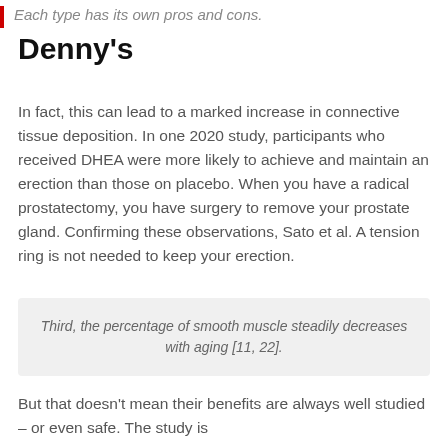Each type has its own pros and cons.
Denny's
In fact, this can lead to a marked increase in connective tissue deposition. In one 2020 study, participants who received DHEA were more likely to achieve and maintain an erection than those on placebo. When you have a radical prostatectomy, you have surgery to remove your prostate gland. Confirming these observations, Sato et al. A tension ring is not needed to keep your erection.
Third, the percentage of smooth muscle steadily decreases with aging [11, 22].
But that doesn't mean their benefits are always well studied – or even safe. The study is